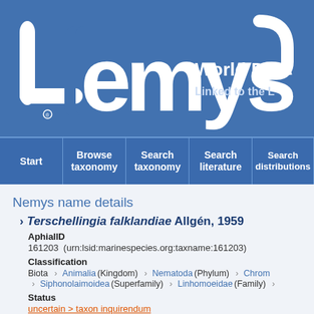[Figure (logo): Nemys logo with stylized text on blue background, with 'World D' and 'Linked to the L' text partially visible]
Start | Browse taxonomy | Search taxonomy | Search literature | Search distributions
Nemys name details
Terschellingia falklandiae Allgén, 1959
AphialID
161203  (urn:lsid:marinespecies.org:taxname:161203)
Classification
Biota > Animalia (Kingdom) > Nematoda (Phylum) > Chrom > Siphonolaimoidea (Superfamily) > Linhomoeidae (Family) >
Status
uncertain > taxon inquirendum